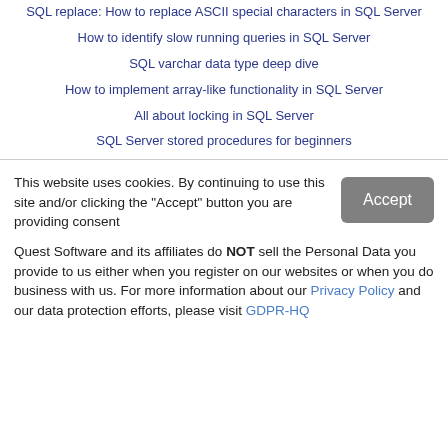SQL replace: How to replace ASCII special characters in SQL Server
How to identify slow running queries in SQL Server
SQL varchar data type deep dive
How to implement array-like functionality in SQL Server
All about locking in SQL Server
SQL Server stored procedures for beginners
This website uses cookies. By continuing to use this site and/or clicking the "Accept" button you are providing consent
Quest Software and its affiliates do NOT sell the Personal Data you provide to us either when you register on our websites or when you do business with us. For more information about our Privacy Policy and our data protection efforts, please visit GDPR-HQ